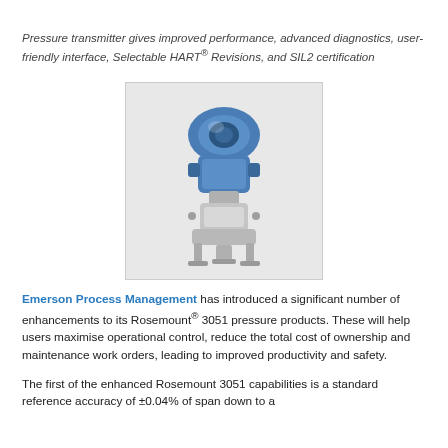Pressure transmitter gives improved performance, advanced diagnostics, user-friendly interface, Selectable HART® Revisions, and SIL2 certification
[Figure (photo): Photo of a Rosemount 3051 pressure transmitter with blue housing and stainless steel manifold and valve body, positioned on a white background.]
Emerson Process Management has introduced a significant number of enhancements to its Rosemount® 3051 pressure products. These will help users maximise operational control, reduce the total cost of ownership and maintenance work orders, leading to improved productivity and safety.
The first of the enhanced Rosemount 3051 capabilities is a standard reference accuracy of ±0.04% of span down to a